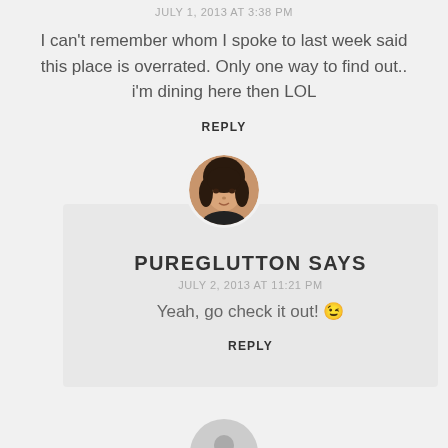JULY 1, 2013 AT 3:38 PM
I can't remember whom I spoke to last week said this place is overrated. Only one way to find out.. i'm dining here then LOL
REPLY
[Figure (photo): Circular avatar photo of a woman]
PUREGLUTTON SAYS
JULY 2, 2013 AT 11:21 PM
Yeah, go check it out! 😉
REPLY
[Figure (illustration): Gray default avatar silhouette icon]